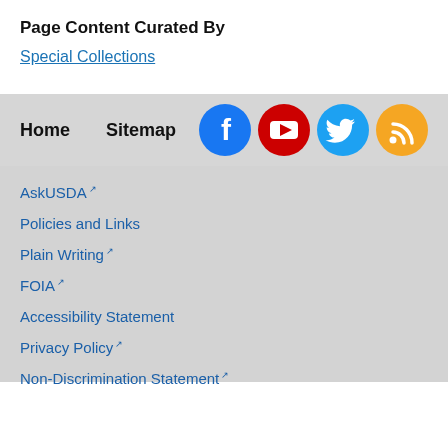Page Content Curated By
Special Collections
Home    Sitemap
[Figure (infographic): Social media icons: Facebook (blue circle with f), YouTube (red circle with play button), Twitter (blue circle with bird), RSS (orange circle with wifi/rss symbol)]
AskUSDA (external link)
Policies and Links
Plain Writing (external link)
FOIA (external link)
Accessibility Statement
Privacy Policy (external link)
Non-Discrimination Statement (external link)